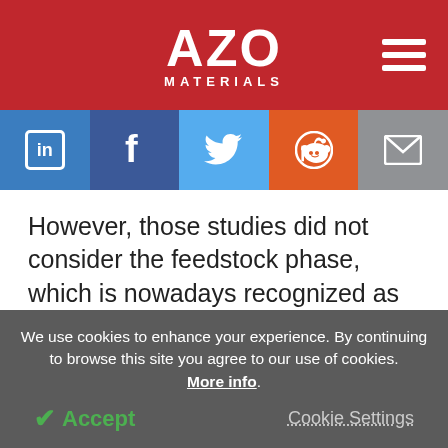AZO MATERIALS
However, those studies did not consider the feedstock phase, which is nowadays recognized as an important component of the HSC. In the feedstock phase, hydrogen as an energy carrier can be produced from different raw materials such as natural gas, coal, biomass, water, nuclear energy, and
We use cookies to enhance your experience. By continuing to browse this site you agree to our use of cookies. More info.
✔ Accept
Cookie Settings